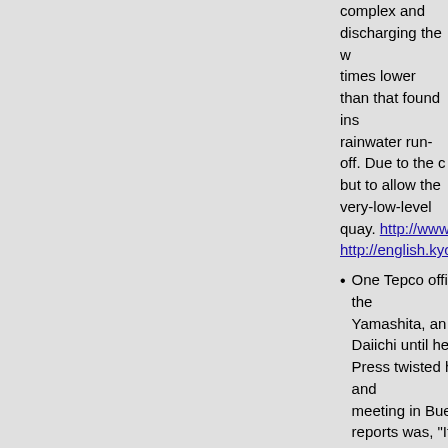complex and discharging the water, which had radioactivity 10 times lower than that found in seawater and 100 times lower than rainwater run-off. Due to the concerns of nearby fishermen, but to allow the very-low-level water to escape, it was kept at quay. http://www3.nhk.or.jp/nh... http://english.kyodonews.jp/ne...
One Tepco official has said the water was not harmful. Yamashita, an Executive Fellow at Tepco, supported F. Daiichi until he reluctantly said at an IAEA Scientific Committee Press twisted his meaning and Tepco clarified at another IAEA meeting in Buenos Aires, where the true meaning of his reports was, "It is our understanding that this does not mean that the impact of radioactivity is so small..." According to this understanding, we share the same view. Tepco clarified the Tepco statement by explaining his comment was that he did not visit F. Daiichi on Thursday in http://mainichi.jp/english/engli... http://www.japantimes.co.jp/ne... 2/#.UjRjRuvD8dU
The build-up of low-level waste materials. There were 500,000 tons of wastes accumulated during the cleanup efforts and remain in open areas where they can be seen by local residents fearing radiation and by the government and Tepco officials feel Tokyo should forget the problem and the concerns greatly diminish. Of...